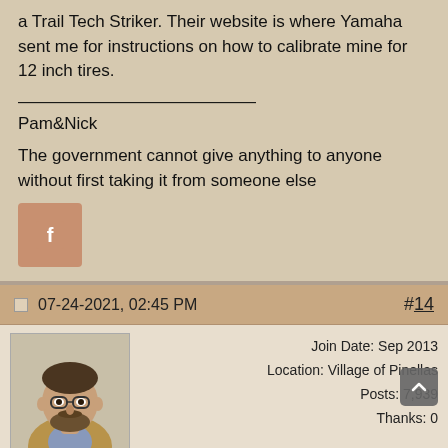a Trail Tech Striker. Their website is where Yamaha sent me for instructions on how to calibrate mine for 12 inch tires.
——————————————
Pam&Nick
The government cannot give anything to anyone without first taking it from someone else
[Figure (logo): Facebook icon button in brownish-orange square]
07-24-2021, 02:45 PM   #14
[Figure (photo): Profile photo of villagetinker, a middle-aged man with glasses and a beard wearing a tan jacket]
Join Date: Sep 2013
Location: Village of Pinellas
Posts: 7,939
Thanks: 0
villagetinker ▼ OFFLINE   Thanked 3,347 Times in 1,295 Posts